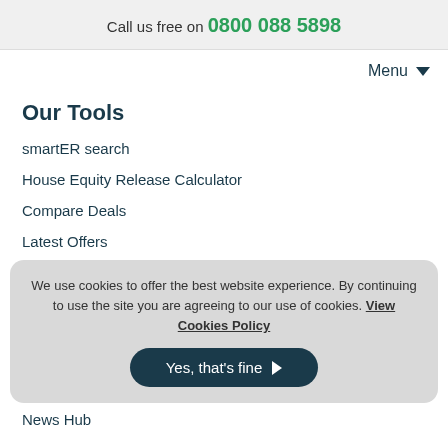Call us free on 0800 088 5898
Menu
Our Tools
smartER search
House Equity Release Calculator
Compare Deals
Latest Offers
We use cookies to offer the best website experience. By continuing to use the site you are agreeing to our use of cookies. View Cookies Policy
Yes, that's fine
News Hub